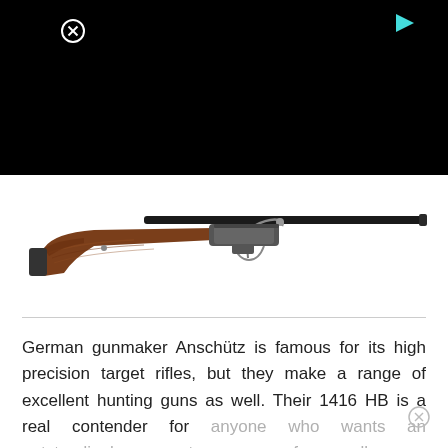[Figure (screenshot): Black video/ad banner with close button (circled X) top-left and play button top-right]
[Figure (photo): Photo of an Anschütz 1416 HB bolt-action rifle with wooden stock and long black barrel on white background]
German gunmaker Anschütz is famous for its high precision target rifles, but they make a range of excellent hunting guns as well. Their 1416 HB is a real contender for anyone who wants an outstandingly accurate weapon for small game hunting or pest control.